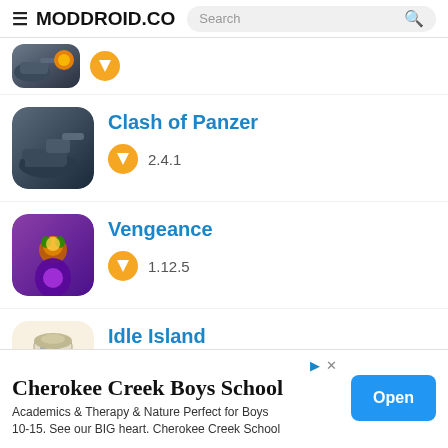MODDROID.CO
[Figure (screenshot): Partial app icon cropped at top (tank/explosion game)]
Clash of Panzer
2.4.1
Vengeance
1.12.5
Idle Island
1.13.07 + Mod: Unlimited money
Cherokee Creek Boys School
Academics & Therapy & Nature Perfect for Boys 10-15. See our BIG heart. Cherokee Creek School
Open